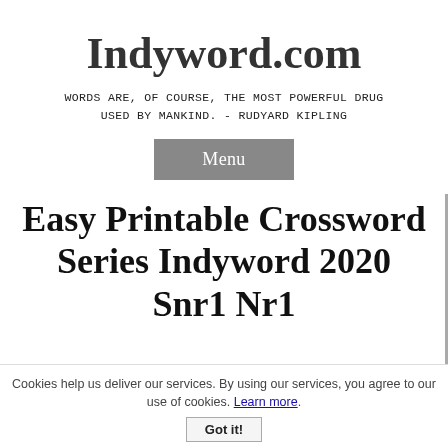Indyword.com
WORDS ARE, OF COURSE, THE MOST POWERFUL DRUG USED BY MANKIND. - RUDYARD KIPLING
Menu
Easy Printable Crossword Series Indyword 2020 Snr1 Nr1
Cookies help us deliver our services. By using our services, you agree to our use of cookies. Learn more. Got it!